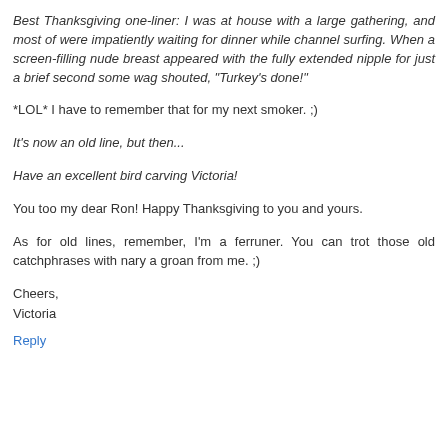Best Thanksgiving one-liner: I was at house with a large gathering, and most of were impatiently waiting for dinner while channel surfing. When a screen-filling nude breast appeared with the fully extended nipple for just a brief second some wag shouted, "Turkey's done!"
*LOL* I have to remember that for my next smoker. ;)
It's now an old line, but then...
Have an excellent bird carving Victoria!
You too my dear Ron! Happy Thanksgiving to you and yours.
As for old lines, remember, I'm a ferruner. You can trot those old catchphrases with nary a groan from me. ;)
Cheers,
Victoria
Reply